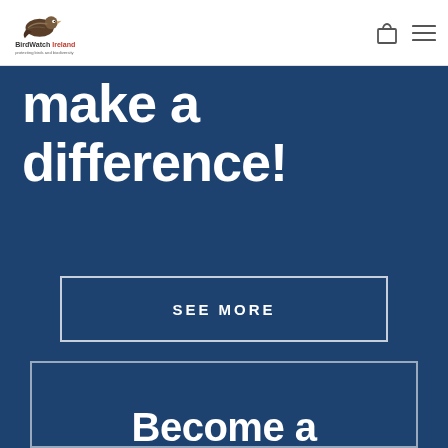BirdWatch Ireland — protecting birds and biodiversity
make a difference!
SEE MORE
[Figure (illustration): White outline bird/dove icon on dark blue background, inside a bordered card]
Become a